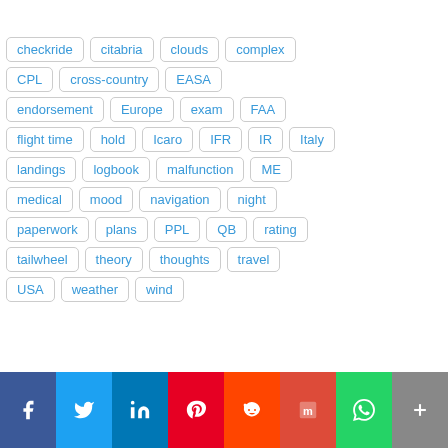checkride, citabria, clouds, complex, CPL, cross-country, EASA, endorsement, Europe, exam, FAA, flight time, hold, Icaro, IFR, IR, Italy, landings, logbook, malfunction, ME, medical, mood, navigation, night, paperwork, plans, PPL, QB, rating, tailwheel, theory, thoughts, travel, USA, weather, wind